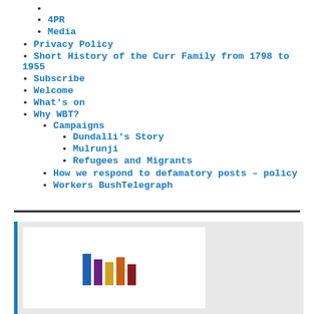4PR
Media
Privacy Policy
Short History of the Curr Family from 1798 to 1955
Subscribe
Welcome
What's on
Why WBT?
Campaigns
Dundalli's Story
Mulrunji
Refugees and Migrants
How we respond to defamatory posts – policy
Workers BushTelegraph
[Figure (other): A small bar chart icon/logo with multicolored bars (blue, purple, yellow/gold, orange, dark red) shown inside a white card within a light grey bordered container with a blue left border stripe.]